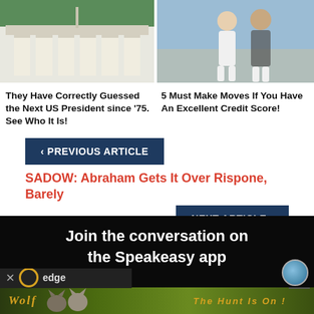[Figure (photo): Photo of the White House with green lawn and trees]
[Figure (photo): Photo of people, a woman in white and a man in striped shirt]
They Have Correctly Guessed the Next US President since '75. See Who It Is!
5 Must Make Moves If You Have An Excellent Credit Score!
< PREVIOUS ARTICLE
SADOW: Abraham Gets It Over Rispone, Barely
NEXT ARTICLE >
BAYHAM: Let Wichita Eat (Baby) Cake!
[Figure (screenshot): Join the conversation on the Speakeasy app banner with Edge browser bar overlay and Wolf hunting game ad at the bottom]